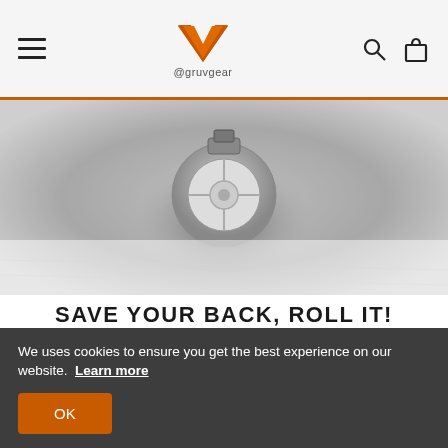@gruvgear
[Figure (photo): Close-up black and white photo of a snap-on wheel/caster on carpet or a textured surface]
SAVE YOUR BACK, ROLL IT!
Our unique snap-on wheels will make longer walks a breeze, and attaches in seconds without any tools. Quickly remove and store them in the included pouch
We uses cookies to ensure you get the best experience on our website. Learn more
OK